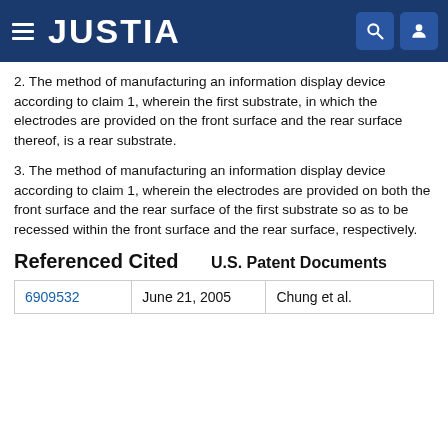JUSTIA
2. The method of manufacturing an information display device according to claim 1, wherein the first substrate, in which the electrodes are provided on the front surface and the rear surface thereof, is a rear substrate.
3. The method of manufacturing an information display device according to claim 1, wherein the electrodes are provided on both the front surface and the rear surface of the first substrate so as to be recessed within the front surface and the rear surface, respectively.
Referenced Cited
U.S. Patent Documents
| 6909532 | June 21, 2005 | Chung et al. |